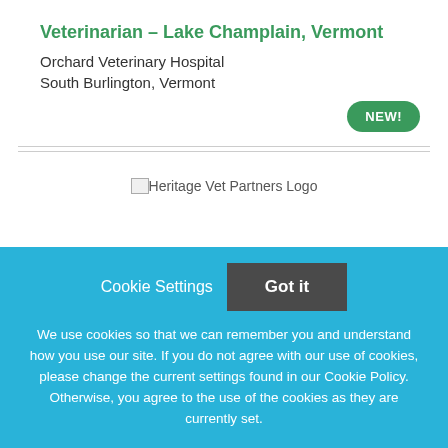Veterinarian – Lake Champlain, Vermont
Orchard Veterinary Hospital
South Burlington, Vermont
[Figure (logo): Heritage Vet Partners Logo placeholder image]
Cookie Settings   Got it
We use cookies so that we can remember you and understand how you use our site. If you do not agree with our use of cookies, please change the current settings found in our Cookie Policy. Otherwise, you agree to the use of the cookies as they are currently set.